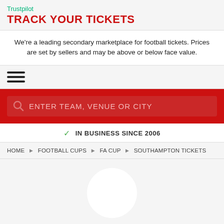Trustpilot
TRACK YOUR TICKETS
We're a leading secondary marketplace for football tickets. Prices are set by sellers and may be above or below face value.
[Figure (other): Hamburger menu icon with three horizontal lines]
[Figure (other): Search bar with placeholder text ENTER TEAM, VENUE OR CITY on red background]
IN BUSINESS SINCE 2006
HOME ▶ FOOTBALL CUPS ▶ FA CUP ▶ SOUTHAMPTON TICKETS
[Figure (logo): White circle logo placeholder]
SOUTHAMPTON TICKETS